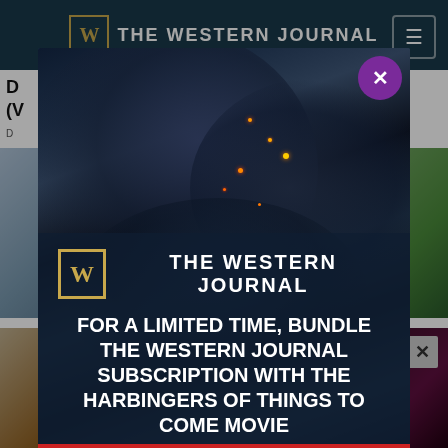THE WESTERN JOURNAL
D... This (V...
D...
[Figure (screenshot): Modal overlay popup on The Western Journal website showing a subscription promotion with smoke/explosion background image and text: FOR A LIMITED TIME, BUNDLE THE WESTERN JOURNAL SUBSCRIPTION WITH THE HARBINGERS OF THINGS TO COME MOVIE]
FOR A LIMITED TIME, BUNDLE THE WESTERN JOURNAL SUBSCRIPTION WITH THE HARBINGERS OF THINGS TO COME MOVIE